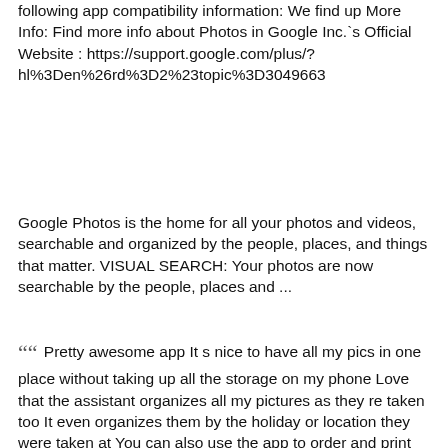following app compatibility information: We find up More Info: Find more info about Photos in Google Inc.`s Official Website : https://support.google.com/plus/?hl%3Den%26rd%3D2%23topic%3D3049663
Google Photos is the home for all your photos and videos, searchable and organized by the people, places, and things that matter. VISUAL SEARCH: Your photos are now searchable by the people, places and ...
““ Pretty awesome app It s nice to have all my pics in one place without taking up all the storage on my phone Love that the assistant organizes all my pictures as they re taken too It even organizes them by the holiday or location they were taken at You can also use the app to order and print the pictures you have Which is awesome if you need to come up with a unique...